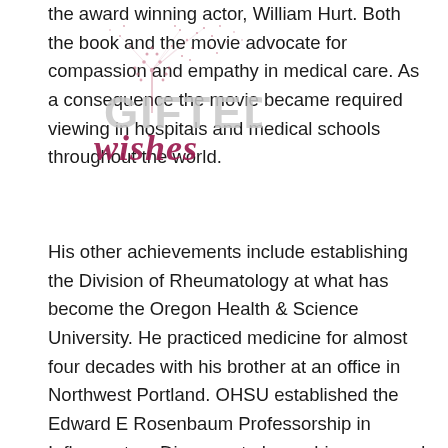[Figure (illustration): Watermark overlay showing a dandelion illustration with the text 'GIFTED' in gray block letters and 'wishes' in dark pink/maroon cursive script]
the award winning actor, William Hurt. Both the book and the movie advocate for compassion and empathy in medical care. As a consequence the movie became required viewing in hospitals and medical schools throughout the world.
His other achievements include establishing the Division of Rheumatology at what has become the Oregon Health & Science University. He practiced medicine for almost four decades with his brother at an office in Northwest Portland. OHSU established the Edward E Rosenbaum Professorship in Inflammatory Diseases to honor his name and to perpetuate his work. Three of his sons, two of his daughters-in-law, two of his nephews and two of his grandchildren have